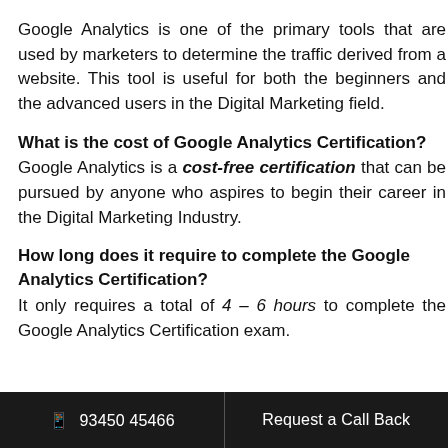Google Analytics is one of the primary tools that are used by marketers to determine the traffic derived from a website. This tool is useful for both the beginners and the advanced users in the Digital Marketing field.
What is the cost of Google Analytics Certification?
Google Analytics is a cost-free certification that can be pursued by anyone who aspires to begin their career in the Digital Marketing Industry.
How long does it require to complete the Google Analytics Certification?
It only requires a total of 4 – 6 hours to complete the Google Analytics Certification exam.
📱 93450 45466   Request a Call Back